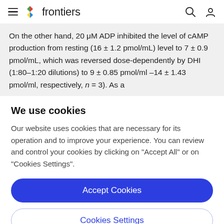frontiers
On the other hand, 20 μM ADP inhibited the level of cAMP production from resting (16 ± 1.2 pmol/mL) level to 7 ± 0.9 pmol/mL, which was reversed dose-dependently by DHI (1:80–1:20 dilutions) to 9 ± 0.85 pmol/ml –14 ± 1.43 pmol/ml, respectively, n = 3). As a
We use cookies
Our website uses cookies that are necessary for its operation and to improve your experience. You can review and control your cookies by clicking on "Accept All" or on "Cookies Settings".
Accept Cookies
Cookies Settings